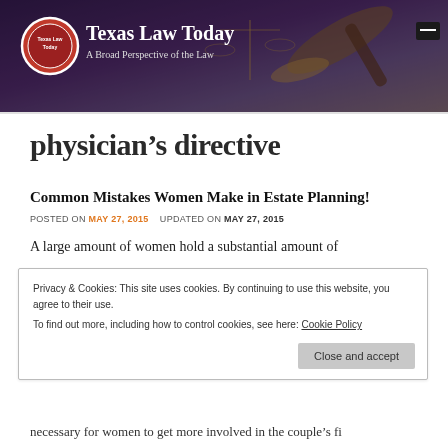[Figure (photo): Texas Law Today website header banner with gavel and scales of justice in background, site logo on left, title and tagline in center]
Texas Law Today — A Broad Perspective of the Law
physician's directive
Common Mistakes Women Make in Estate Planning!
POSTED ON MAY 27, 2015   UPDATED ON MAY 27, 2015
A large amount of women hold a substantial amount of
Privacy & Cookies: This site uses cookies. By continuing to use this website, you agree to their use.
To find out more, including how to control cookies, see here: Cookie Policy
necessary for women to get more involved in the couple's fi...